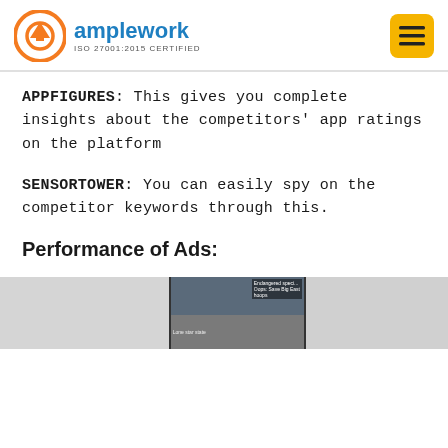[Figure (logo): Amplework logo with orange circular icon and blue text 'amplework', subtitle 'ISO 27001:2015 CERTIFIED', and yellow hamburger menu button on the right]
APPFIGURES: This gives you complete insights about the competitors' app ratings on the platform
SENSORTOWER: You can easily spy on the competitor keywords through this.
Performance of Ads:
[Figure (screenshot): Partial screenshot of ads performance interface showing news-style content cards]